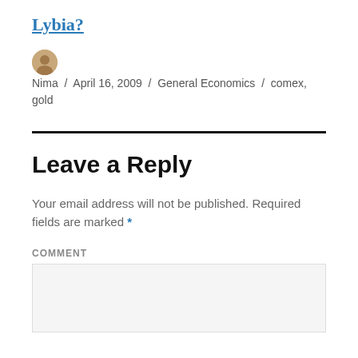Lybia?
Nima / April 16, 2009 / General Economics / comex, gold
Leave a Reply
Your email address will not be published. Required fields are marked *
COMMENT